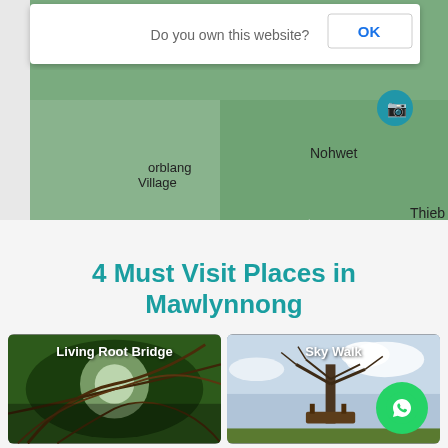[Figure (screenshot): Screenshot of a map showing locations including Mawlynnong, Nohwet, Thieb Skai, Lyngkhat, Lyngkhong, Lar Bamon, orblang Village, with a dialog box asking 'Do you own this website?' and an OK button. A map pin marker is visible near Mawlynnong.]
4 Must Visit Places in Mawlynnong
[Figure (photo): Photo of Living Root Bridge - dense jungle roots forming a bridge structure with light filtering through]
[Figure (photo): Photo of Sky Walk - a bare tree with a wooden platform/treehouse structure against a cloudy sky, with WhatsApp button overlay]